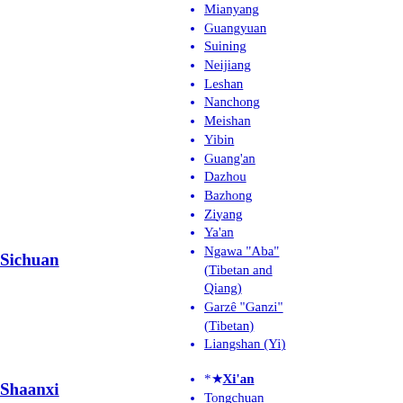Mianyang
Guangyuan
Suining
Neijiang
Leshan
Nanchong
Meishan
Yibin
Guang'an
Dazhou
Bazhong
Ziyang
Ya'an
Ngawa "Aba" (Tibetan and Qiang)
Garzê "Ganzi" (Tibetan)
Liangshan (Yi)
Sichuan
*★Xi'an
Tongchuan
Baoji
Xianyang
Weinan
Shaanxi